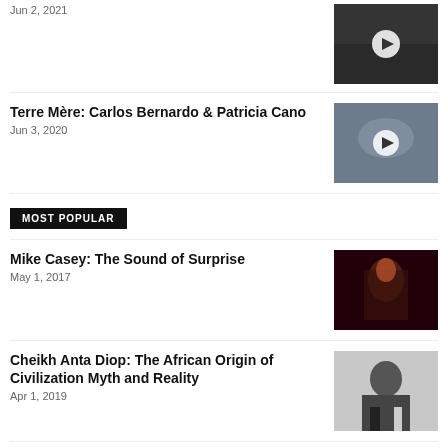Jun 2, 2021
[Figure (photo): Video thumbnail with play button, dark background]
Terre Mère: Carlos Bernardo & Patricia Cano
Jun 3, 2020
[Figure (photo): Video thumbnail with play button, blue-gray tones]
MOST POPULAR
Mike Casey: The Sound of Surprise
May 1, 2017
[Figure (photo): Musician playing saxophone under red stage lighting]
Cheikh Anta Diop: The African Origin of Civilization Myth and Reality
Apr 1, 2019
[Figure (photo): Black and white portrait photograph]
The World's Best Cities For Jazz
Feb 6, 2018
[Figure (photo): Colorful Blue Nile poster/album art]